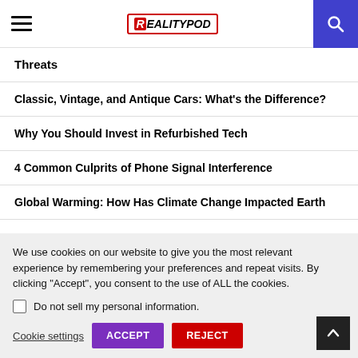RealityPod
Threats
Classic, Vintage, and Antique Cars: What's the Difference?
Why You Should Invest in Refurbished Tech
4 Common Culprits of Phone Signal Interference
Global Warming: How Has Climate Change Impacted Earth
We use cookies on our website to give you the most relevant experience by remembering your preferences and repeat visits. By clicking "Accept", you consent to the use of ALL the cookies.
Do not sell my personal information.
Cookie settings  ACCEPT  REJECT